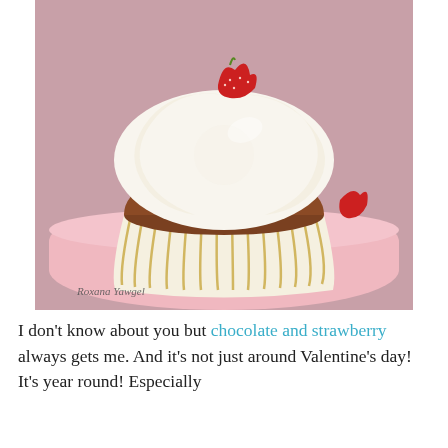[Figure (photo): Close-up photo of a chocolate cupcake in a gold and white striped paper cup with swirled white cream frosting and a red strawberry on top, placed on a pink cake stand. Watermark text 'Roxana Yawgel' in bottom left corner.]
I don't know about you but chocolate and strawberry always gets me. And it's not just around Valentine's day! It's year round! Especially